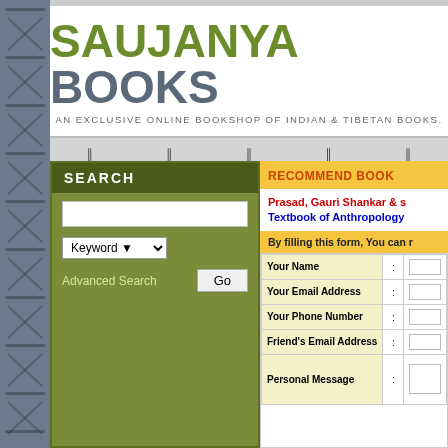[Figure (logo): Saujanya Books logo with green SAUJANYA text and gray BOOKS text, tagline: AN EXCLUSIVE ONLINE BOOKSHOP OF INDIAN & TIBETAN BOOKS.]
SEARCH
Advanced Search
RECOMMEND BOOK
Prasad, Gauri Shankar & ... Textbook of Anthropology
By filling this form, You can r...
| Field | : | Input |
| --- | --- | --- |
| Your Name | : |  |
| Your Email Address | : |  |
| Your Phone Number | : |  |
| Friend's Email Address | : |  |
| Personal Message | : |  |